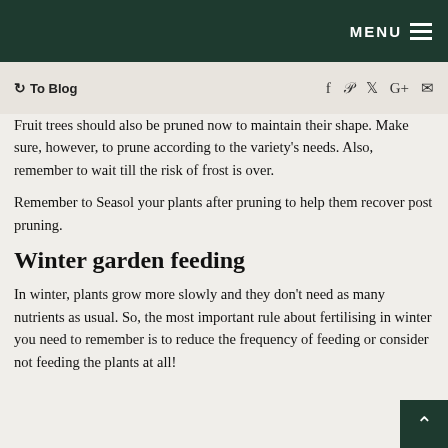MENU
↺ To Blog   f  p  ♦  G+  ✉
Fruit trees should also be pruned now to maintain their shape. Make sure, however, to prune according to the variety's needs. Also, remember to wait till the risk of frost is over.
Remember to Seasol your plants after pruning to help them recover post pruning.
Winter garden feeding
In winter, plants grow more slowly and they don't need as many nutrients as usual. So, the most important rule about fertilising in winter you need to remember is to reduce the frequency of feeding or consider not feeding the plants at all!